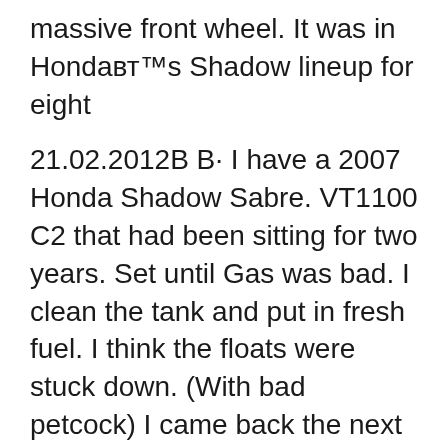massive front wheel. It was in Honda's Shadow lineup for eight
21.02.2012B B· I have a 2007 Honda Shadow Sabre. VT1100 C2 that had been sitting for two years. Set until Gas was bad. I clean the tank and put in fresh fuel. I think the floats were stuck down. (With bad petcock) I came back the next day and the cylinders and crank case were full of you. I pulled the plugs... Vt1100c2 Wiring Diagram 1999 Honda Shadow Ace Vt1100c2 Wiring Diagram. Honda Shadow Spirit VTC WIRE HARNESS (1) Parts at diagramweb.net The Web's most trusted source for Honda Shadow Spirit Honda VTC2 Shadow American Classic